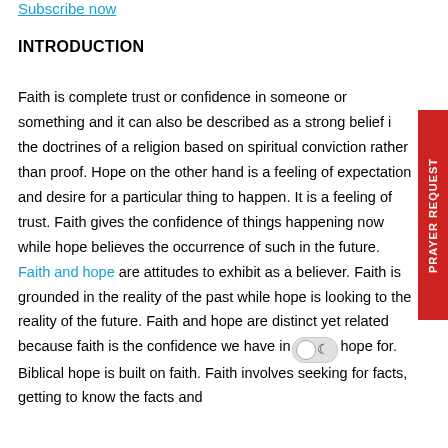Subscribe now
INTRODUCTION
Faith is complete trust or confidence in someone or something and it can also be described as a strong belief in the doctrines of a religion based on spiritual conviction rather than proof. Hope on the other hand is a feeling of expectation and desire for a particular thing to happen. It is a feeling of trust. Faith gives the confidence of things happening now while hope believes the occurrence of such in the future. Faith and hope are attitudes to exhibit as a believer. Faith is grounded in the reality of the past while hope is looking to the reality of the future. Faith and hope are distinct yet related because faith is the confidence we have in hope for. Biblical hope is built on faith. Faith involves seeking for facts, getting to know the facts and